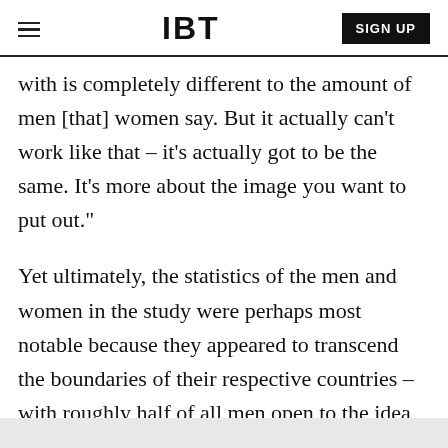IBT | SIGN UP
with is completely different to the amount of men [that] women say. But it actually can't work like that – it's actually got to be the same. It's more about the image you want to put out."
Yet ultimately, the statistics of the men and women in the study were perhaps most notable because they appeared to transcend the boundaries of their respective countries – with roughly half of all men open to the idea of robot love compared to roughly one fifth of women.